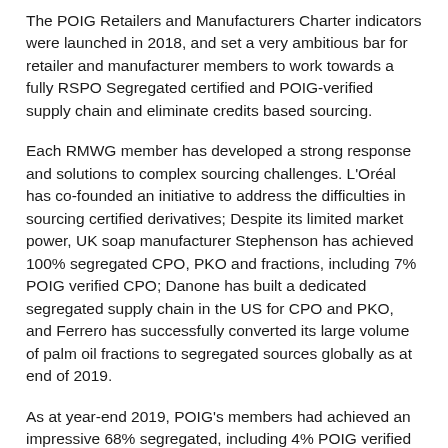The POIG Retailers and Manufacturers Charter indicators were launched in 2018, and set a very ambitious bar for retailer and manufacturer members to work towards a fully RSPO Segregated certified and POIG-verified supply chain and eliminate credits based sourcing.
Each RMWG member has developed a strong response and solutions to complex sourcing challenges. L'Oréal has co-founded an initiative to address the difficulties in sourcing certified derivatives; Despite its limited market power, UK soap manufacturer Stephenson has achieved 100% segregated CPO, PKO and fractions, including 7% POIG verified CPO; Danone has built a dedicated segregated supply chain in the US for CPO and PKO, and Ferrero has successfully converted its large volume of palm oil fractions to segregated sources globally as at end of 2019.
As at year-end 2019, POIG's members had achieved an impressive 68% segregated, including 4% POIG verified palm